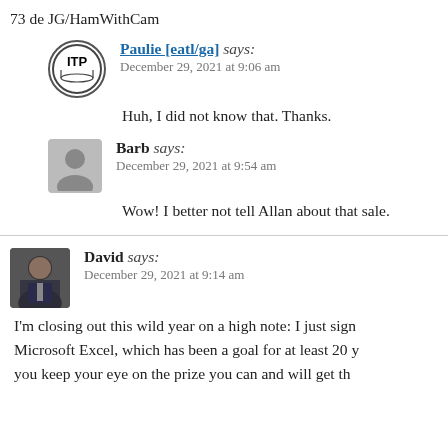73 de JG/HamWithCam
Paulie [eatl/ga] says: December 29, 2021 at 9:06 am
Huh, I did not know that. Thanks.
Barb says: December 29, 2021 at 9:54 am
Wow! I better not tell Allan about that sale.
David says: December 29, 2021 at 9:14 am
I'm closing out this wild year on a high note: I just sign Microsoft Excel, which has been a goal for at least 20 y you keep your eye on the prize you can and will get th